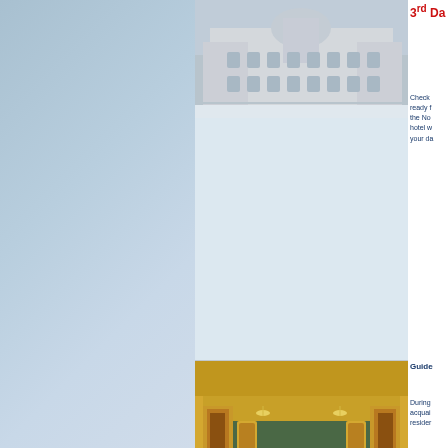3rd Day
[Figure (photo): Exterior view of a grand palace building covered in snow, classical European architecture]
Check ready f the No hotel w your da
Guide
[Figure (photo): Interior of a golden ornate palace hall with gilded arches, chandeliers and intricate parquet floor]
During acquai resider
[Figure (photo): Strip of multiple images showing palace interior details, mosaics, and artworks]
You wi Palace archite that su aroun Grand mirrors Amber 25 yea